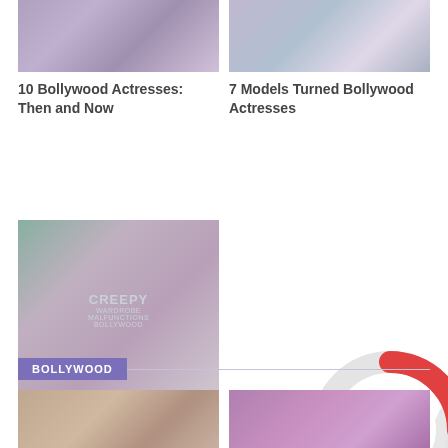[Figure (photo): Bollywood actresses collage photo - Then and Now]
10 Bollywood Actresses: Then and Now
[Figure (photo): 7 Models Turned Bollywood Actresses collage photo]
7 Models Turned Bollywood Actresses
[Figure (photo): Creepy Wardrobe Malfunctions Bollywood collage]
10 Wardrobe Malfunctions of Bollywood Actresses
[Figure (other): Loading spinner overlay - red and gray circle]
BOLLYWOOD
[Figure (photo): Bollywood bottom image left]
[Figure (photo): Bollywood bottom image right]